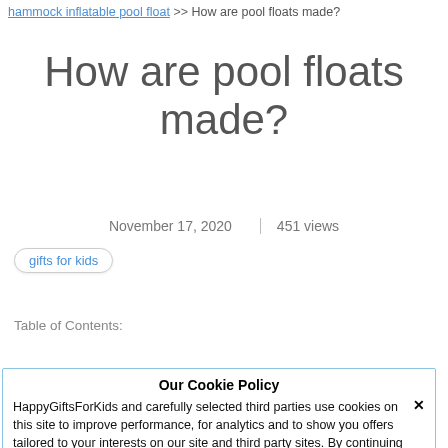hammock inflatable pool float >> How are pool floats made?
How are pool floats made?
November 17, 2020 | 451 views
gifts for kids
Table of Contents:
After Thoughts
Our Cookie Policy
HappyGiftsForKids and carefully selected third parties use cookies on this site to improve performance, for analytics and to show you offers tailored to your interests on our site and third party sites. By continuing to use our site, you consent to our use of cookies. Privacy Policy